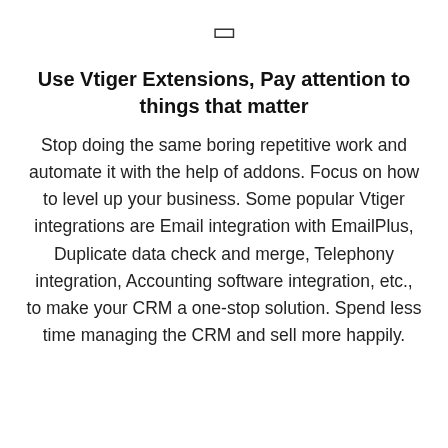[Figure (other): Small square/rectangle icon or checkbox symbol centered near top of page]
Use Vtiger Extensions, Pay attention to things that matter
Stop doing the same boring repetitive work and automate it with the help of addons. Focus on how to level up your business. Some popular Vtiger integrations are Email integration with EmailPlus, Duplicate data check and merge, Telephony integration, Accounting software integration, etc., to make your CRM a one-stop solution. Spend less time managing the CRM and sell more happily.